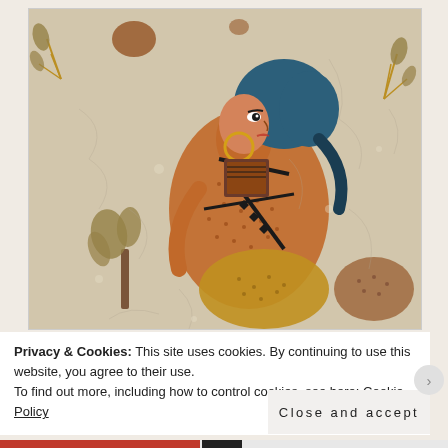[Figure (photo): Ancient fresco depicting a figure with blue hair and gold earring, shown in profile, wearing decorated clothing with a dotted pattern. The figure appears to be a woman in Minoan or similar ancient Mediterranean style, surrounded by floral/plant motifs on a cracked plaster background.]
Privacy & Cookies: This site uses cookies. By continuing to use this website, you agree to their use.
To find out more, including how to control cookies, see here: Cookie Policy
Close and accept